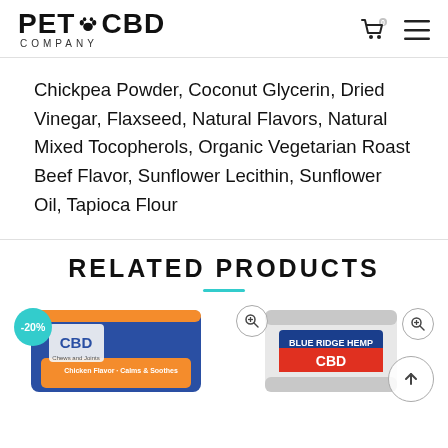PET CBD COMPANY
Chickpea Powder, Coconut Glycerin, Dried Vinegar, Flaxseed, Natural Flavors, Natural Mixed Tocopherols, Organic Vegetarian Roast Beef Flavor, Sunflower Lecithin, Sunflower Oil, Tapioca Flour
RELATED PRODUCTS
[Figure (photo): Product card with -20% discount badge showing a blue CBD pet treats package]
[Figure (photo): Product card showing a white CBD package]